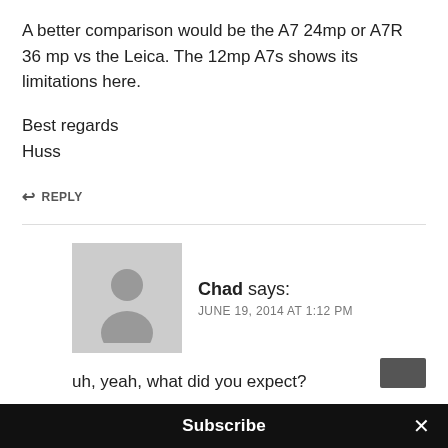A better comparison would be the A7 24mp or A7R 36 mp vs the Leica. The 12mp A7s shows its limitations here.
Best regards
Huss
↩ REPLY
Chad says:
JUNE 19, 2014 AT 1:12 PM
uh, yeah, what did you expect?
When you pixel peep details then of course th
Subscribe